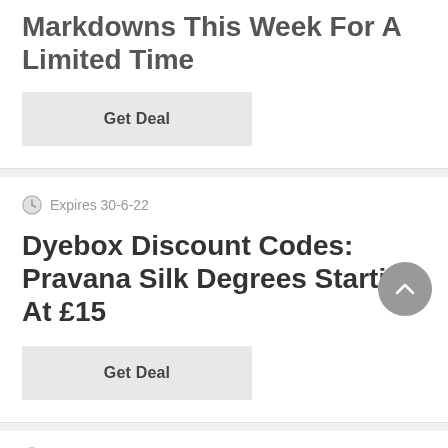Markdowns This Week For A Limited Time
Get Deal
Expires 30-6-22
Dyebox Discount Codes: Pravana Silk Degrees Starting At £15
Get Deal
Expires 12-8-22